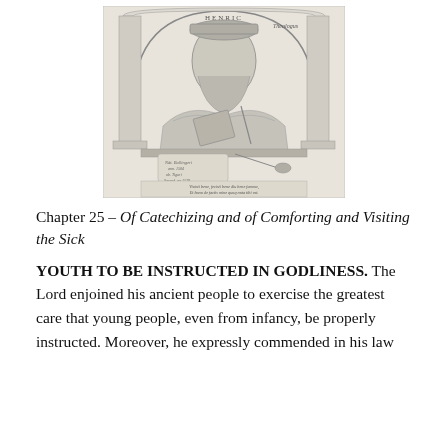[Figure (illustration): Engraved portrait of Heinrich Bullinger (or similar Reformation-era theologian), shown from the waist up wearing robes and holding a book/quill, seated at a desk with a scroll and inkwell. Inscribed text at top reads 'HENRIC...' and 'Theologus'. Below the portrait is cursive Latin text: 'Viuisti bene, fecisti bene diu bene famma, Et bona de factis mine quoq nota tibi est.']
Chapter 25 – Of Catechizing and of Comforting and Visiting the Sick
YOUTH TO BE INSTRUCTED IN GODLINESS. The Lord enjoined his ancient people to exercise the greatest care that young people, even from infancy, be properly instructed. Moreover, he expressly commended in his law